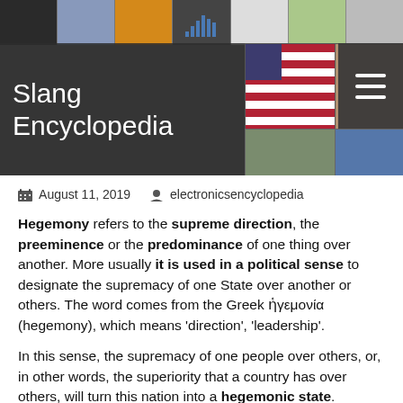Slang Encyclopedia
August 11, 2019   electronicsencyclopedia
Hegemony refers to the supreme direction, the preeminence or the predominance of one thing over another. More usually it is used in a political sense to designate the supremacy of one State over another or others. The word comes from the Greek ἡγεμονία (hegemony), which means 'direction', 'leadership'.
In this sense, the supremacy of one people over others, or, in other words, the superiority that a country has over others, will turn this nation into a hegemonic state.
The hegemony implies a position of influence is recorded at various levels and walks of life of